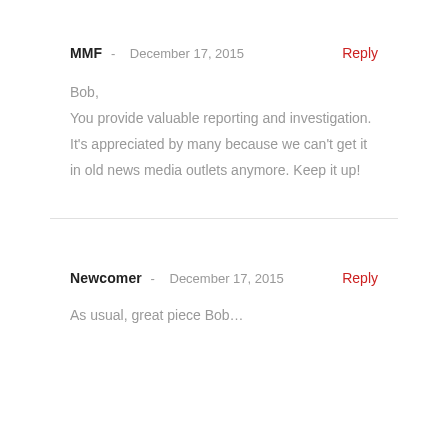MMF  -  December 17, 2015   Reply
Bob,
You provide valuable reporting and investigation. It’s appreciated by many because we can’t get it in old news media outlets anymore. Keep it up!
Newcomer  -  December 17, 2015   Reply
As usual, great piece Bob…